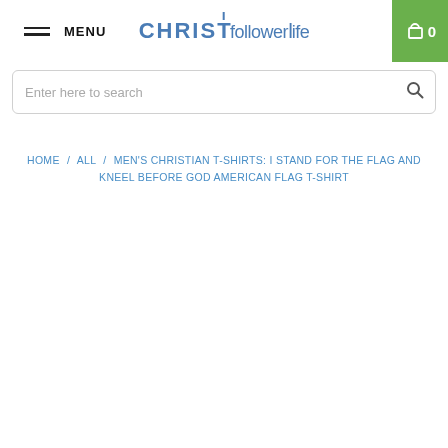MENU | CHRISTfollowerlife | Cart 0
Enter here to search
HOME / ALL / MEN'S CHRISTIAN T-SHIRTS: I STAND FOR THE FLAG AND KNEEL BEFORE GOD AMERICAN FLAG T-SHIRT